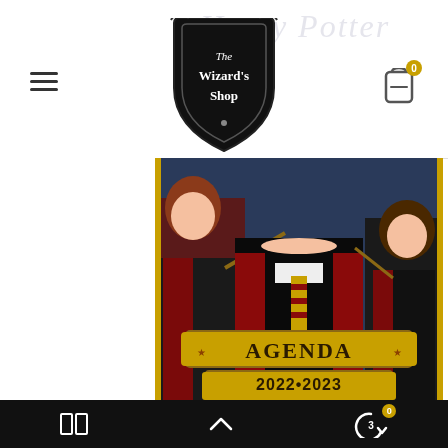[Figure (logo): The Wizard's Shop shield logo in black with gothic text]
[Figure (screenshot): Website screenshot showing The Wizard's Shop header with hamburger menu, logo, cart icon, and Harry Potter Agenda 2022-2023 product photo featuring students in Gryffindor robes]
[Figure (other): Bottom navigation bar with grid icon, up-arrow icon, and back/cart icon with badge showing 0]